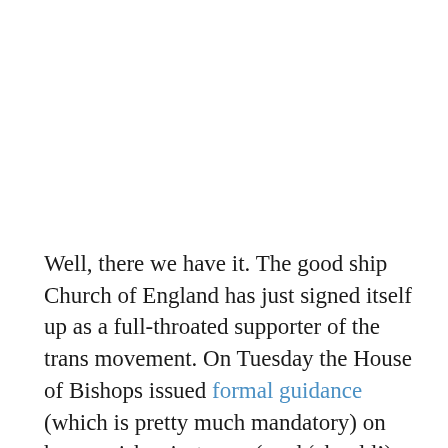Well, there we have it. The good ship Church of England has just signed itself up as a full-throated supporter of the trans movement. On Tuesday the House of Bishops issued formal guidance (which is pretty much mandatory) on how parish priests can (read ‘should’) use the Affirmation of Baptism service to celebrate a person’s gender transition.